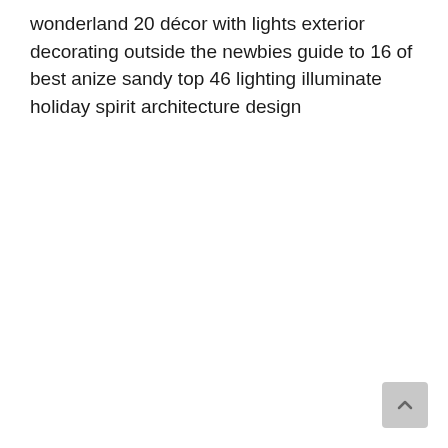wonderland 20 décor with lights exterior decorating outside the newbies guide to 16 of best anize sandy top 46 lighting illuminate holiday spirit architecture design